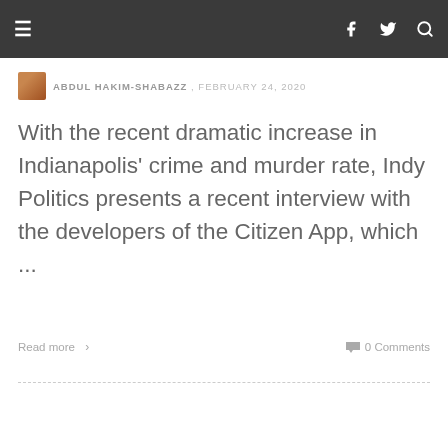☰  f  🐦  🔍
ABDUL HAKIM-SHABAZZ ,  FEBRUARY 24, 2020
With the recent dramatic increase in Indianapolis' crime and murder rate, Indy Politics presents a recent interview with the developers of the Citizen App, which ...
Read more ›   0 Comments